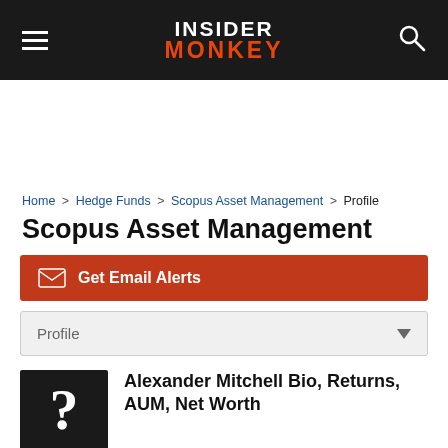Insider Monkey
Home > Hedge Funds > Scopus Asset Management > Profile
Scopus Asset Management
✉ Get Email Alerts
Profile
Alexander Mitchell Bio, Returns, AUM, Net Worth